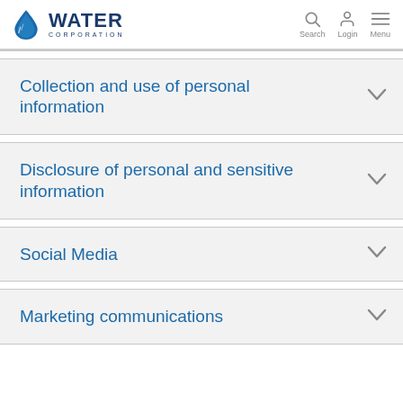[Figure (logo): Water Corporation logo with water drop icon and text WATER CORPORATION]
Collection and use of personal information
Disclosure of personal and sensitive information
Social Media
Marketing communications